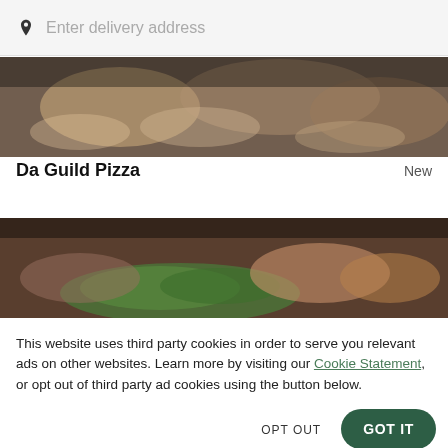Enter delivery address
[Figure (photo): Food photo showing pizza and dishes from above, partially visible at top of page]
Da Guild Pizza  New
[Figure (photo): Food photo showing green herbs and grilled items, restaurant listing image]
This website uses third party cookies in order to serve you relevant ads on other websites. Learn more by visiting our Cookie Statement, or opt out of third party ad cookies using the button below.
OPT OUT
GOT IT